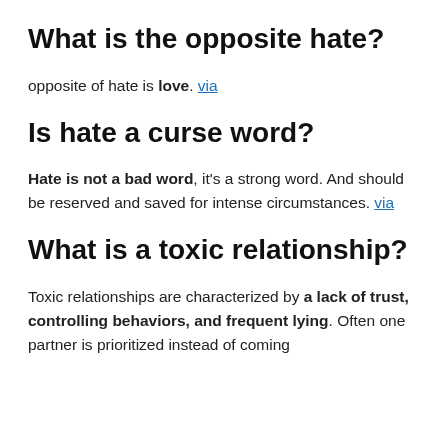What is the opposite hate?
opposite of hate is love. via
Is hate a curse word?
Hate is not a bad word, it's a strong word. And should be reserved and saved for intense circumstances. via
What is a toxic relationship?
Toxic relationships are characterized by a lack of trust, controlling behaviors, and frequent lying. Often one partner is prioritized instead of coming